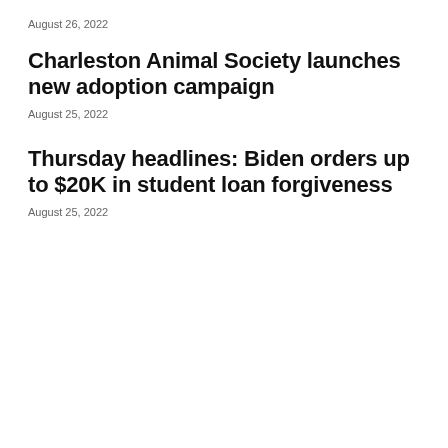August 26, 2022
Charleston Animal Society launches new adoption campaign
August 25, 2022
Thursday headlines: Biden orders up to $20K in student loan forgiveness
August 25, 2022